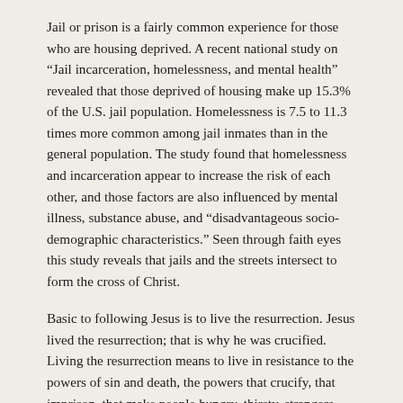Jail or prison is a fairly common experience for those who are housing deprived. A recent national study on “Jail incarceration, homelessness, and mental health” revealed that those deprived of housing make up 15.3% of the U.S. jail population. Homelessness is 7.5 to 11.3 times more common among jail inmates than in the general population. The study found that homelessness and incarceration appear to increase the risk of each other, and those factors are also influenced by mental illness, substance abuse, and “disadvantageous socio-demographic characteristics.” Seen through faith eyes this study reveals that jails and the streets intersect to form the cross of Christ.
Basic to following Jesus is to live the resurrection. Jesus lived the resurrection; that is why he was crucified. Living the resurrection means to live in resistance to the powers of sin and death, the powers that crucify, that imprison, that make people hungry, thirsty, strangers, without shelter. Christ calls from the streets and from prisons and jails, “My God, my God, why have you forsaken me?” God, of course, listened to Jesus and overturned his death sentence, raising him from the dead. Do we?